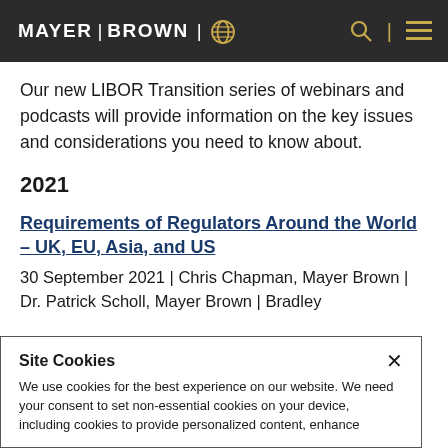MAYER | BROWN
Our new LIBOR Transition series of webinars and podcasts will provide information on the key issues and considerations you need to know about.
2021
Requirements of Regulators Around the World – UK, EU, Asia, and US
30 September 2021 | Chris Chapman, Mayer Brown | Dr. Patrick Scholl, Mayer Brown | Bradley
Site Cookies
We use cookies for the best experience on our website. We need your consent to set non-essential cookies on your device, including cookies to provide personalized content, enhance